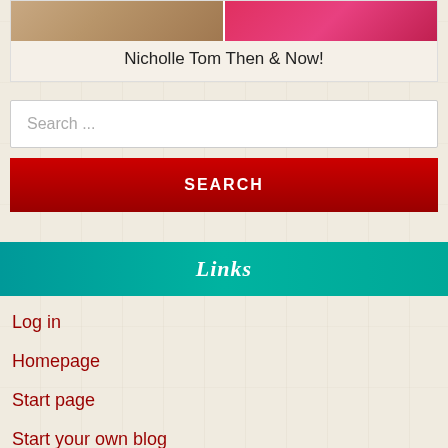[Figure (photo): Two side-by-side photos of Nicholle Tom - then (left, showing her younger) and now (right, wearing a bright pink/red dress)]
Nicholle Tom Then & Now!
Search ...
SEARCH
Links
Log in
Homepage
Start page
Start your own blog